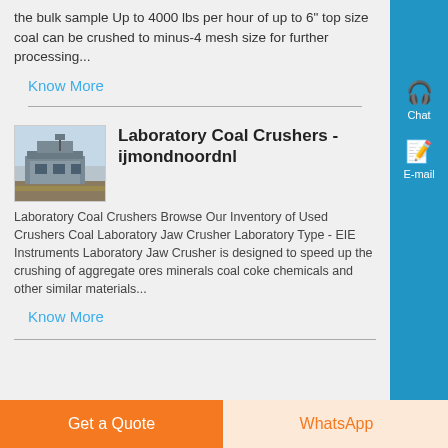the bulk sample Up to 4000 lbs per hour of up to 6" top size coal can be crushed to minus-4 mesh size for further processing...
Know More
Laboratory Coal Crushers - ijmondnoordnl
[Figure (photo): Photo of a laboratory coal crusher machine, industrial equipment outdoors]
Laboratory Coal Crushers Browse Our Inventory of Used Crushers Coal Laboratory Jaw Crusher Laboratory Type - EIE Instruments Laboratory Jaw Crusher is designed to speed up the crushing of aggregate ores minerals coal coke chemicals and other similar materials...
Know More